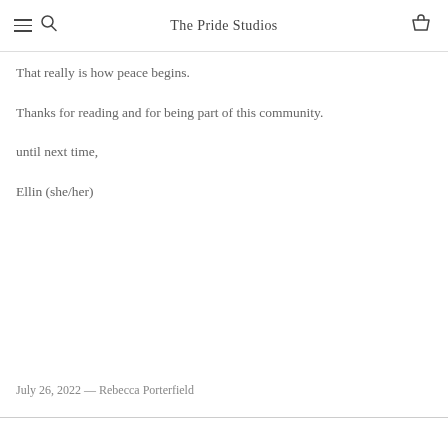The Pride Studios
That really is how peace begins.
Thanks for reading and for being part of this community.
until next time,
Ellin (she/her)
July 26, 2022 — Rebecca Porterfield